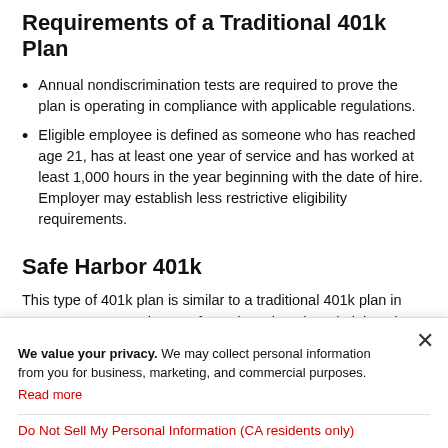Requirements of a Traditional 401k Plan
Annual nondiscrimination tests are required to prove the plan is operating in compliance with applicable regulations.
Eligible employee is defined as someone who has reached age 21, has at least one year of service and has worked at least 1,000 hours in the year beginning with the date of hire. Employer may establish less restrictive eligibility requirements.
Safe Harbor 401k
This type of 401k plan is similar to a traditional 401k plan in many respects. Under a Safe Harbor Plan, the administration is reduced because the plan includes either a matching or an
We value your privacy. We may collect personal information from you for business, marketing, and commercial purposes. Read more
Do Not Sell My Personal Information (CA residents only)